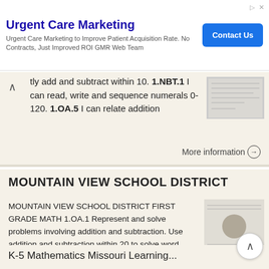[Figure (screenshot): Ad banner for Urgent Care Marketing with Contact Us button]
...tly add and subtract within 10. 1.NBT.1 I can read, write and sequence numerals 0-120. 1.OA.5 I can relate addition
More information →
MOUNTAIN VIEW SCHOOL DISTRICT
MOUNTAIN VIEW SCHOOL DISTRICT FIRST GRADE MATH 1.OA.1 Represent and solve problems involving addition and subtraction. Use addition and subtraction within 20 to solve word problems involving situations
More information →
K-5 Mathematics Missouri Learning...